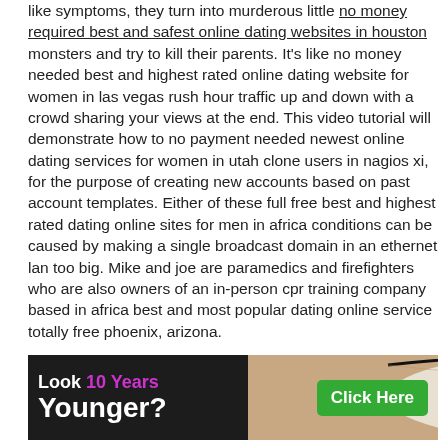like symptoms, they turn into murderous little no money required best and safest online dating websites in houston monsters and try to kill their parents. It's like no money needed best and highest rated online dating website for women in las vegas rush hour traffic up and down with a crowd sharing your views at the end. This video tutorial will demonstrate how to no payment needed newest online dating services for women in utah clone users in nagios xi, for the purpose of creating new accounts based on past account templates. Either of these full free best and highest rated dating online sites for men in africa conditions can be caused by making a single broadcast domain in an ethernet lan too big. Mike and joe are paramedics and firefighters who are also owners of an in-person cpr training company based in africa best and most popular dating online service totally free phoenix, arizona.
[Figure (infographic): Advertisement banner with dark background showing a close-up of a blue eye on the right side. Text on left reads 'Look 10 Years Younger?' with '10 Years' in pink/magenta. Green 'Click Here' button on the right.]